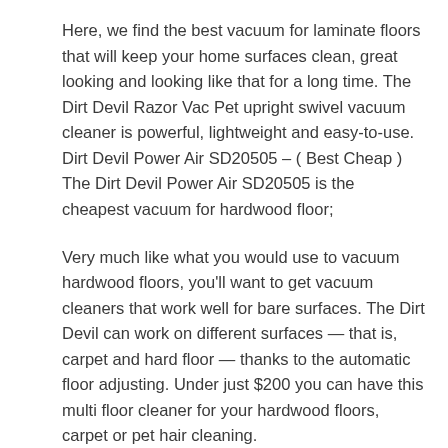Here, we find the best vacuum for laminate floors that will keep your home surfaces clean, great looking and looking like that for a long time. The Dirt Devil Razor Vac Pet upright swivel vacuum cleaner is powerful, lightweight and easy-to-use. Dirt Devil Power Air SD20505 – ( Best Cheap ) The Dirt Devil Power Air SD20505 is the cheapest vacuum for hardwood floor;
Very much like what you would use to vacuum hardwood floors, you'll want to get vacuum cleaners that work well for bare surfaces. The Dirt Devil can work on different surfaces — that is, carpet and hard floor — thanks to the automatic floor adjusting. Under just $200 you can have this multi floor cleaner for your hardwood floors, carpet or pet hair cleaning.